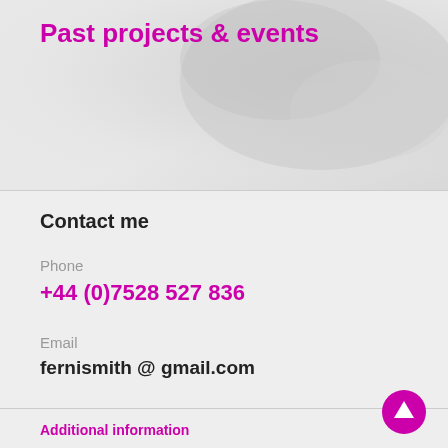Past projects & events
[Figure (photo): Decorative background image area, light grey with subtle shadowed shapes]
Contact me
Phone
+44 (0)7528 527 836
Email
fernismith @ gmail.com
[Figure (other): Purple circular up-arrow button]
Additional information